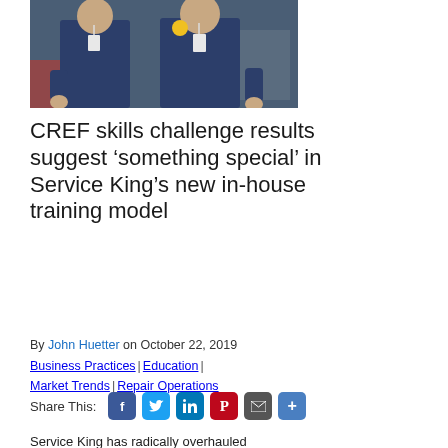[Figure (photo): Two people in dark blue uniforms/work shirts with lanyards/badges, standing in what appears to be a workshop or training facility.]
CREF skills challenge results suggest 'something special' in Service King's new in-house training model
By John Huetter on October 22, 2019
Business Practices | Education | Market Trends | Repair Operations
Share This:
Service King has radically overhauled